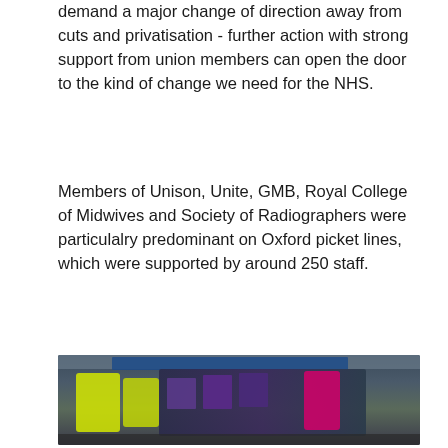demand a major change of direction away from cuts and privatisation - further action with strong support from union members can open the door to the kind of change we need for the NHS.
Members of Unison, Unite, GMB, Royal College of Midwives and Society of Radiographers were particulalry predominant on Oxford picket lines, which were supported by around 250 staff.
[Figure (photo): A group of NHS workers on a picket line, many wearing yellow high-visibility vests and holding purple 'Official Picket' signs. A blue banner is visible in the background. One person in a bright pink jacket stands out on the right side of the group.]